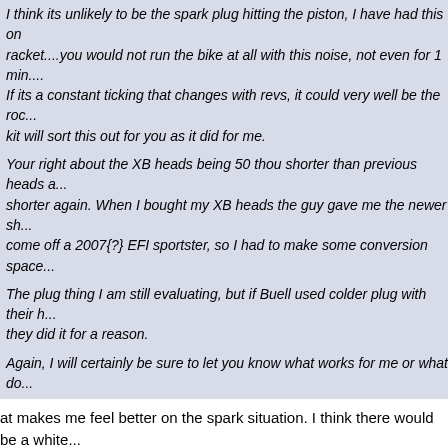I think its unlikely to be the spark plug hitting the piston, I have had this on a race ... racket....you would not run the bike at all with this noise, not even for 1 min.... If its a constant ticking that changes with revs, it could very well be the rocker kit will sort this out for you as it did for me.
Your right about the XB heads being 50 thou shorter than previous heads a... shorter again. When I bought my XB heads the guy gave me the newer sh... come off a 2007{?} EFI sportster, so I had to make some conversion space...
The plug thing I am still evaluating, but if Buell used colder plug with their h... they did it for a reason.
Again, I will certainly be sure to let you know what works for me or what do...
at makes me feel better on the spark situation. I think there would be a white... ee day when I looked at the piston top of the piston.
st put that 42 jet in my voes hose. Drove around the block. I could hear whin... akes. I can't think of why that would cause a whining sound.
ad just adjusted my drive chain and I'm thinking that May be the cause. I jack... in too lose wouldn't cause a whine would it? I've heard that a tight c...